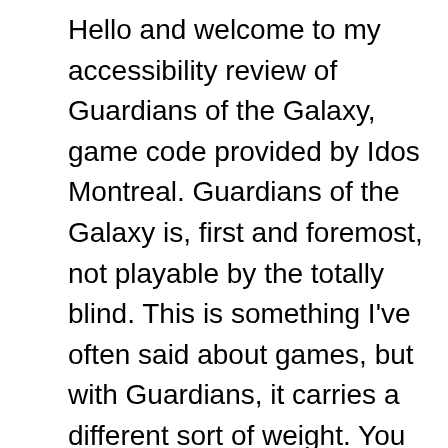Hello and welcome to my accessibility review of Guardians of the Galaxy, game code provided by Idos Montreal. Guardians of the Galaxy is, first and foremost, not playable by the totally blind. This is something I've often said about games, but with Guardians, it carries a different sort of weight. You see, for the first time ever, I among several other accessibility consultants am listed in the credits of this game. This, however, is related to a round-table discussion I had about accessibility with Square, not any actual consultancy work I did for them. I am sorry to disappoint. Nevertheless, I feel that the inclusion of those Square even worked with